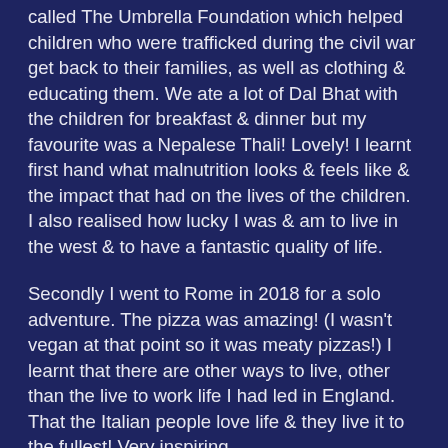called The Umbrella Foundation which helped children who were trafficked during the civil war get back to their families, as well as clothing & educating them. We ate a lot of Dal Bhat with the children for breakfast & dinner but my favourite was a Nepalese Thali! Lovely! I learnt first hand what malnutrition looks & feels like & the impact that had on the lives of the children. I also realised how lucky I was & am to live in the west & to have a fantastic quality of life.
Secondly I went to Rome in 2018 for a solo adventure. The pizza was amazing! (I wasn't vegan at that point so it was meaty pizzas!) I learnt that there are other ways to live, other than the live to work life I had led in England. That the Italian people love life & they live it to the fullest! Very inspiring.